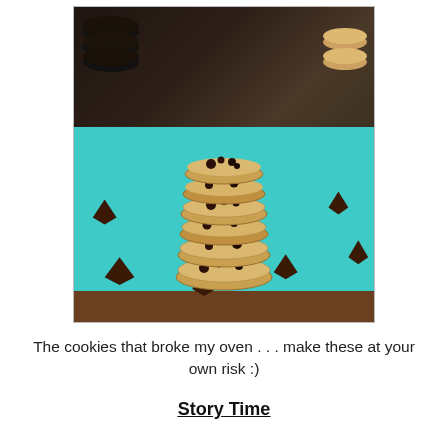[Figure (photo): Photo of a stack of chocolate chip cookies on a teal/turquoise surface with chocolate chips scattered around. Text overlay reads 'Chocolate Chip Cookies'. Watermark reads 'eatcakefordinner.']
The cookies that broke my oven . . . make these at your own risk :)
Story Time